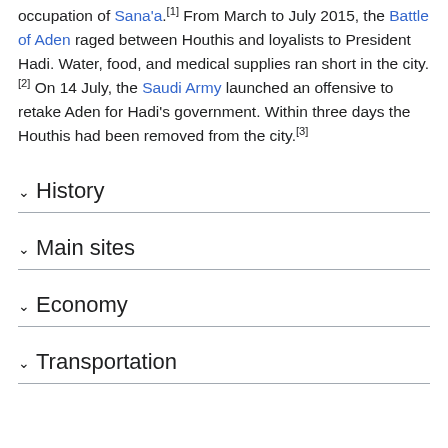occupation of Sana'a.[1] From March to July 2015, the Battle of Aden raged between Houthis and loyalists to President Hadi. Water, food, and medical supplies ran short in the city.[2] On 14 July, the Saudi Army launched an offensive to retake Aden for Hadi's government. Within three days the Houthis had been removed from the city.[3]
History
Main sites
Economy
Transportation